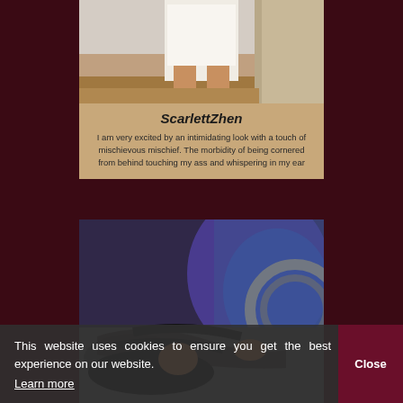[Figure (photo): Top portion of a person wearing a white outfit, cropped photo on a beige/tan card]
ScarlettZhen
I am very excited by an intimidating look with a touch of mischievous mischief. The morbidity of being cornered from behind touching my ass and whispering in my ear
[Figure (photo): Woman in black lingerie lying down, colorful artwork in background]
This website uses cookies to ensure you get the best experience on our website. Learn more
Close